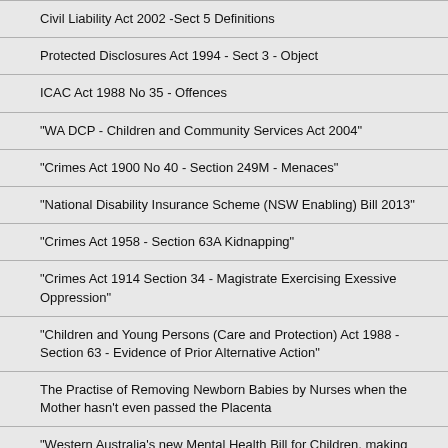| Civil Liability Act 2002 -Sect 5 Definitions |
| Protected Disclosures Act 1994 - Sect 3 - Object |
| ICAC Act 1988 No 35 - Offences |
| "WA DCP - Children and Community Services Act 2004" |
| "Crimes Act 1900 No 40 - Section 249M - Menaces" |
| "National Disability Insurance Scheme (NSW Enabling) Bill 2013" |
| "Crimes Act 1958 - Section 63A Kidnapping" |
| "Crimes Act 1914 Section 34 - Magistrate Exercising Exessive Oppression" |
| "Children and Young Persons (Care and Protection) Act 1988 - Section 63 - Evidence of Prior Alternative Action" |
| The Practise of Removing Newborn Babies by Nurses when the Mother hasn't even passed the Placenta |
| "Western Australia's new Mental Health Bill for Children, making Sterilisation, Psychosurgery and Electric Shock Okay! --- Completely violating the International Covenant on Childrens Rights" |